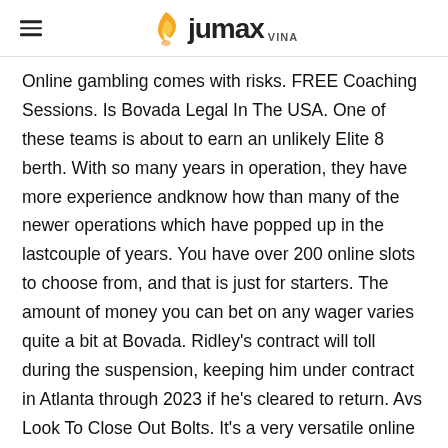jumax VINA
Online gambling comes with risks. FREE Coaching Sessions. Is Bovada Legal In The USA. One of these teams is about to earn an unlikely Elite 8 berth. With so many years in operation, they have more experience andknow how than many of the newer operations which have popped up in the lastcouple of years. You have over 200 online slots to choose from, and that is just for starters. The amount of money you can bet on any wager varies quite a bit at Bovada. Ridley's contract will toll during the suspension, keeping him under contract in Atlanta through 2023 if he's cleared to return. Avs Look To Close Out Bolts. It's a very versatile online gambling platform that offers casino games, sports betting,